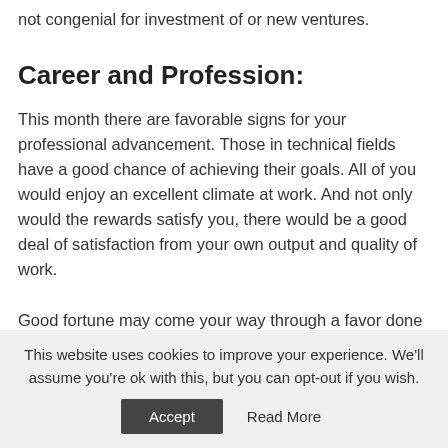not congenial for investment of or new ventures.
Career and Profession:
This month there are favorable signs for your professional advancement. Those in technical fields have a good chance of achieving their goals. All of you would enjoy an excellent climate at work. And not only would the rewards satisfy you, there would be a good deal of satisfaction from your own output and quality of work.
Good fortune may come your way through a favor done to
This website uses cookies to improve your experience. We'll assume you're ok with this, but you can opt-out if you wish. Accept Read More